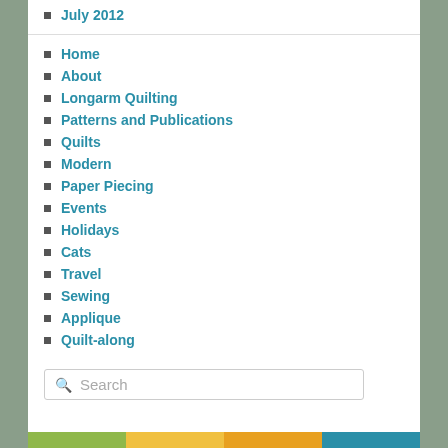July 2012
Home
About
Longarm Quilting
Patterns and Publications
Quilts
Modern
Paper Piecing
Events
Holidays
Cats
Travel
Sewing
Applique
Quilt-along
[Figure (other): Search input box with placeholder text 'Search']
[Figure (other): Colorful horizontal bar strip at bottom of page with green, yellow, orange, and teal segments]